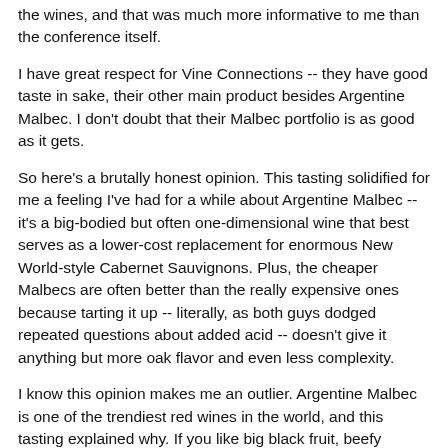the wines, and that was much more informative to me than the conference itself.
I have great respect for Vine Connections -- they have good taste in sake, their other main product besides Argentine Malbec. I don't doubt that their Malbec portfolio is as good as it gets.
So here's a brutally honest opinion. This tasting solidified for me a feeling I've had for a while about Argentine Malbec -- it's a big-bodied but often one-dimensional wine that best serves as a lower-cost replacement for enormous New World-style Cabernet Sauvignons. Plus, the cheaper Malbecs are often better than the really expensive ones because tarting it up -- literally, as both guys dodged repeated questions about added acid -- doesn't give it anything but more oak flavor and even less complexity.
I know this opinion makes me an outlier. Argentine Malbec is one of the trendiest red wines in the world, and this tasting explained why. If you like big black fruit, beefy mouthfeel and soft tannins -- so many people do -- you'll love these. I'm a